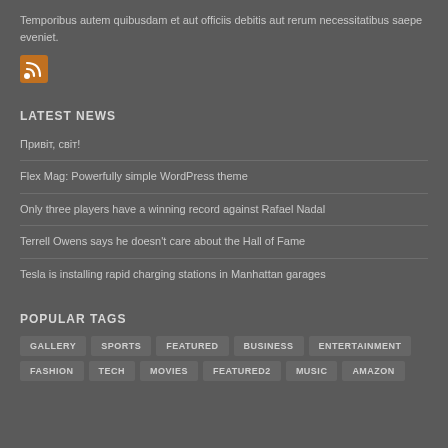Temporibus autem quibusdam et aut officiis debitis aut rerum necessitatibus saepe eveniet.
[Figure (other): RSS feed icon - orange/amber square with RSS symbol]
LATEST NEWS
Привіт, світ!
Flex Mag: Powerfully simple WordPress theme
Only three players have a winning record against Rafael Nadal
Terrell Owens says he doesn't care about the Hall of Fame
Tesla is installing rapid charging stations in Manhattan garages
POPULAR TAGS
GALLERY  SPORTS  FEATURED  BUSINESS  ENTERTAINMENT  FASHION  TECH  MOVIES  FEATURED2  MUSIC  AMAZON  CELEBRITIES  FOOTBALL  GOOGLE  NFL  BASEBALL